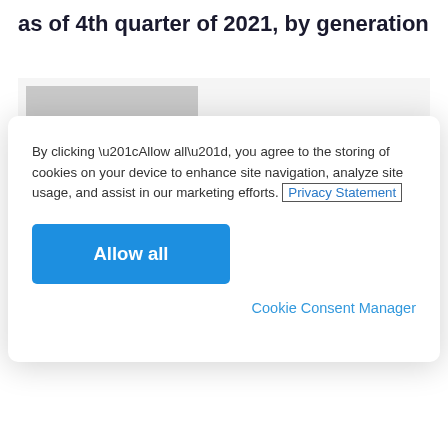as of 4th quarter of 2021, by generation
[Figure (screenshot): Partial bar chart visible behind cookie consent modal, with a gray bar partially visible]
By clicking “Allow all”, you agree to the storing of cookies on your device to enhance site navigation, analyze site usage, and assist in our marketing efforts. Privacy Statement
Allow all
Cookie Consent Manager